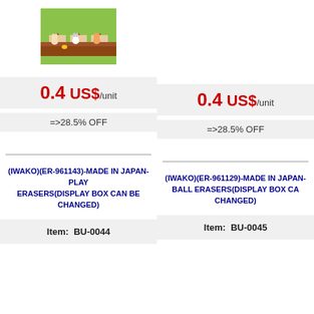[Figure (photo): Photo of toy animal erasers (dogs/cats) on a green playhouse display]
0.4 US$/unit
=>28.5% OFF
(IWAKO)(ER-961143)-MADE IN JAPAN-PLAY ERASERS(DISPLAY BOX CAN BE CHANGED)
Item:  BU-0044
0.4 US$/unit
=>28.5% OFF
(IWAKO)(ER-961129)-MADE IN JAPAN-BALL ERASERS(DISPLAY BOX CAN BE CHANGED)
Item:  BU-0045